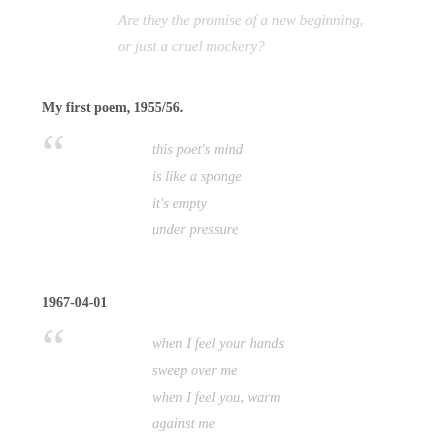Are they the promise of a new beginning,
or just a cruel mockery?
My first poem, 1955/56.
this poet's mind
is like a sponge
it's empty
under pressure
1967-04-01
when I feel your hands
sweep over me
when I feel you, warm
against me